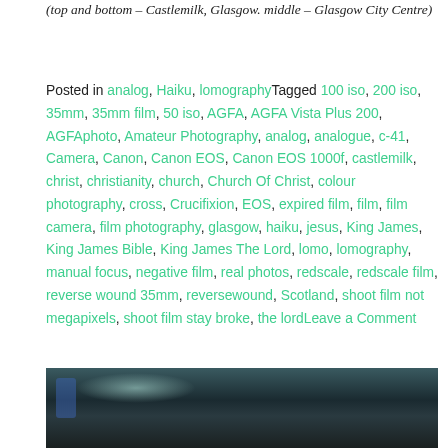(top and bottom – Castlemilk, Glasgow. middle – Glasgow City Centre)
Posted in analog, Haiku, lomographyTagged 100 iso, 200 iso, 35mm, 35mm film, 50 iso, AGFA, AGFA Vista Plus 200, AGFAphoto, Amateur Photography, analog, analogue, c-41, Camera, Canon, Canon EOS, Canon EOS 1000f, castlemilk, christ, christianity, church, Church Of Christ, colour photography, cross, Crucifixion, EOS, expired film, film, film camera, film photography, glasgow, haiku, jesus, King James, King James Bible, King James The Lord, lomo, lomography, manual focus, negative film, real photos, redscale, redscale film, reverse wound 35mm, reversewound, Scotland, shoot film not megapixels, shoot film stay broke, the lordLeave a Comment
[Figure (photo): A dark toned photograph showing what appears to be an indoor scene with glowing light streaks and blue light source on the left.]